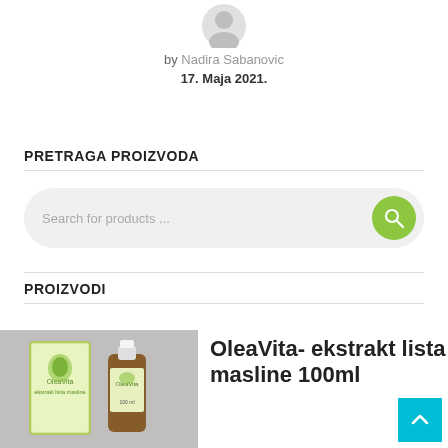[Figure (illustration): Generic user avatar icon, grey silhouette]
by Nadira Sabanovic
17. Maja 2021.
PRETRAGA PROIZVODA
[Figure (screenshot): Search bar with placeholder text 'Search for products ...' and a green circular search button with magnifying glass icon]
PROIZVODI
[Figure (photo): Product photo showing OleaVita olive leaf extract product box and bottle (100ml)]
OleaVita- ekstrakt lista masline 100ml